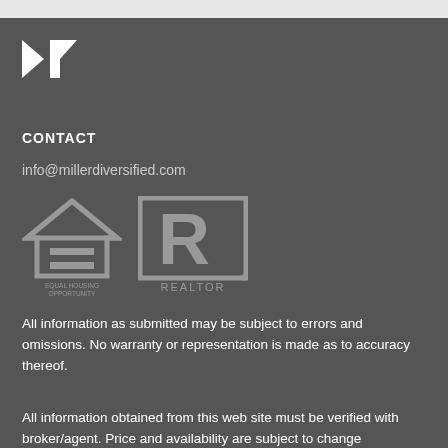[Figure (logo): Miller Diversified stylized 'M' logo mark in white on dark background]
CONTACT
info@millerdiversified.com
[Figure (logo): Equal Housing Opportunity logo and REALTOR logo side by side in gray]
All information as submitted may be subject to errors and omissions. No warranty or representation is made as to accuracy thereof.
All information obtained from this web site must be verified with broker/agent. Price and availability are subject to change